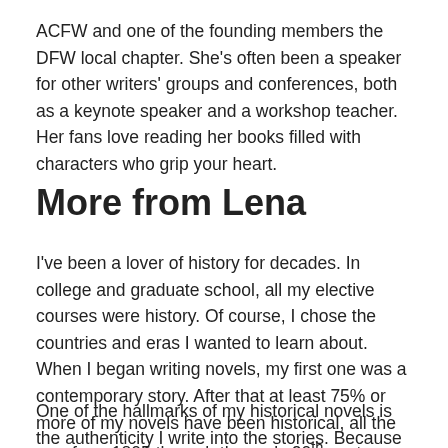ACFW and one of the founding members the DFW local chapter. She's often been a speaker for other writers' groups and conferences, both as a keynote speaker and a workshop teacher. Her fans love reading her books filled with characters who grip your heart.
More from Lena
I've been a lover of history for decades. In college and graduate school, all my elective courses were history. Of course, I chose the countries and eras I wanted to learn about. When I began writing novels, my first one was a contemporary story. After that at least 75% or more of my novels have been historical, all the way from 1805 through the early 20th century.
One of the hallmarks of my historical novels is the authenticity I write into the stories. Because of the amount